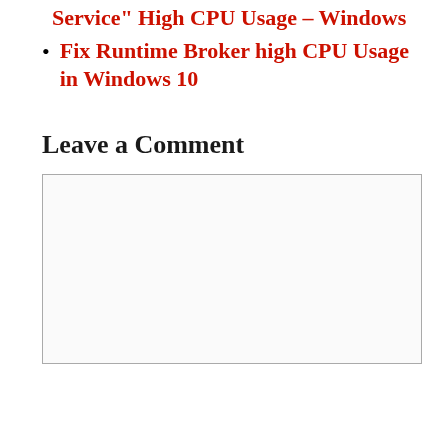Service" High CPU Usage – Windows
Fix Runtime Broker high CPU Usage in Windows 10
Leave a Comment